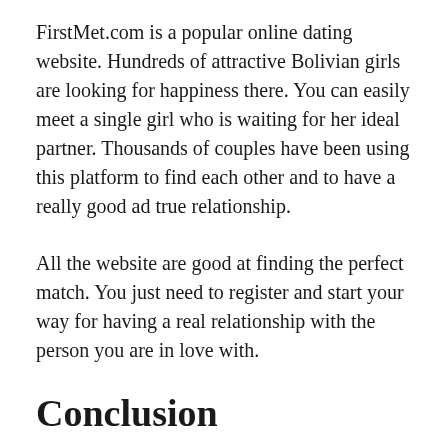FirstMet.com is a popular online dating website. Hundreds of attractive Bolivian girls are looking for happiness there. You can easily meet a single girl who is waiting for her ideal partner. Thousands of couples have been using this platform to find each other and to have a really good ad true relationship.
All the website are good at finding the perfect match. You just need to register and start your way for having a real relationship with the person you are in love with.
Conclusion
Latin girls are well-known all over the world with their exotic style and hot nature. Bolivian girls are those kinds of girls. They are perfect as wives and a lot of men, especially Wester men, know about it. You have a few variants of meeting them and that is a good opportunity.